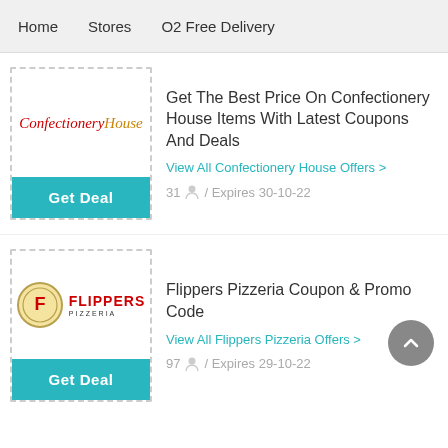Home   Stores   O2 Free Delivery
[Figure (logo): ConfectioneryHouse logo with red and orange italic text]
Get The Best Price On Confectionery House Items With Latest Coupons And Deals
View All Confectionery House Offers >
31 / Expires 30-10-22
[Figure (logo): Flippers Pizzeria logo with circular emblem and red bold text]
Flippers Pizzeria Coupon & Promo Code
View All Flippers Pizzeria Offers >
97 / Expires 29-10-22